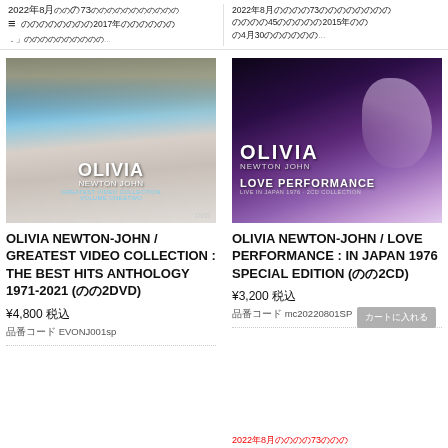2022年8月（日本語テキスト）73（日本語テキスト）三 2017年（日本語テキスト）...
2022年8月（日本語テキスト）73（日本語テキスト）45（日本語テキスト）2015年 4月30（日本語テキスト）...
[Figure (photo): Olivia Newton-John Greatest Video Collection The Best Hits Anthology 1971-2021 album cover - woman with blonde hair smiling, wearing white top, blue background]
[Figure (photo): Olivia Newton-John Love Performance In Japan 1976 Special Edition 2CD album cover - woman singing into microphone on purple/dark stage background]
OLIVIA NEWTON-JOHN / GREATEST VIDEO COLLECTION : THE BEST HITS ANTHOLOGY 1971-2021 (日本語2DVD)
OLIVIA NEWTON-JOHN / LOVE PERFORMANCE : IN JAPAN 1976 SPECIAL EDITION (日本語2CD)
¥4,800 税込
¥3,200 税込
品番コード EVONJ001sp
品番コード mc20220801SP
2022年8月（日本語テキスト）73（日本語テキスト）